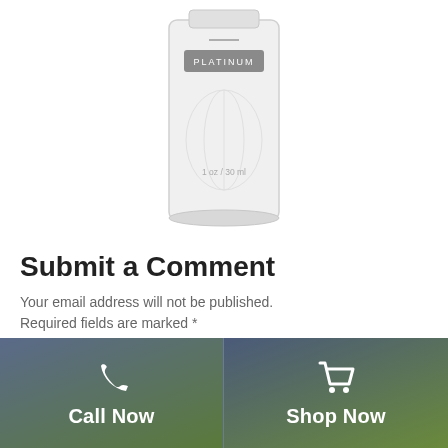[Figure (photo): Partial view of a white Platinum product bottle/vial with label showing 'PLATINUM' and '1oz / 30ml', on white background]
Submit a Comment
Your email address will not be published. Required fields are marked *
Comment
[Figure (infographic): Footer bar with two sections: left 'Call Now' with phone icon, right 'Shop Now' with shopping cart icon, both on green-blue gradient background]